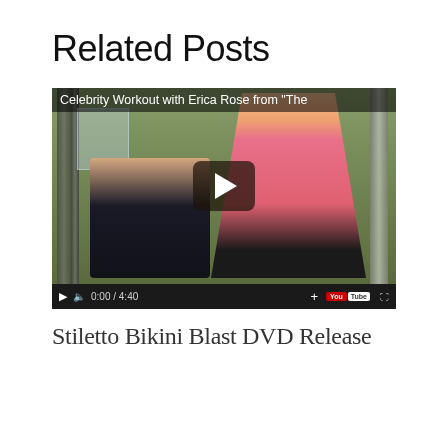Related Posts
[Figure (screenshot): Embedded YouTube video player showing two blonde women in a gym. Title overlay reads: Celebrity Workout with Erica Rose from "The". Video duration shown as 0:00 / 4:40. Controls include play, volume, time, plus, YouTube logo, and fullscreen button.]
Stiletto Bikini Blast DVD Release